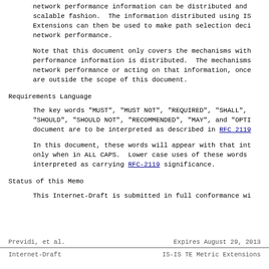network performance information can be distributed and scalable fashion.  The information distributed using IS Extensions can then be used to make path selection deci network performance.
Note that this document only covers the mechanisms with performance information is distributed.  The mechanisms network performance or acting on that information, once are outside the scope of this document.
Requirements Language
The key words "MUST", "MUST NOT", "REQUIRED", "SHALL", "SHOULD", "SHOULD NOT", "RECOMMENDED", "MAY", and "OPTI document are to be interpreted as described in RFC 2119
In this document, these words will appear with that int only when in ALL CAPS.  Lower case uses of these words interpreted as carrying RFC-2119 significance.
Status of this Memo
This Internet-Draft is submitted in full conformance wi
Previdi, et al.          Expires August 29, 2013
Internet-Draft          IS-IS TE Metric Extensions